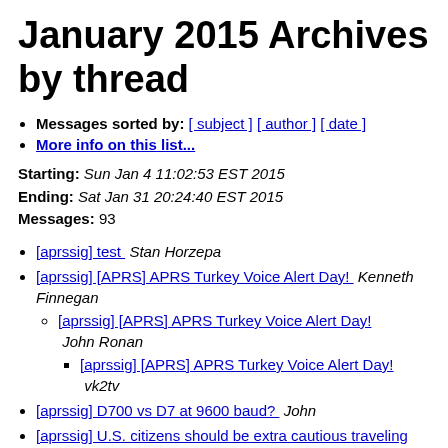January 2015 Archives by thread
Messages sorted by: [ subject ] [ author ] [ date ]
More info on this list...
Starting: Sun Jan 4 11:02:53 EST 2015
Ending: Sat Jan 31 20:24:40 EST 2015
Messages: 93
[aprssig] test   Stan Horzepa
[aprssig] [APRS] APRS Turkey Voice Alert Day!   Kenneth Finnegan
[aprssig] [APRS] APRS Turkey Voice Alert Day!   John Ronan
[aprssig] [APRS] APRS Turkey Voice Alert Day!   vk2tv
[aprssig] D700 vs D7 at 9600 baud?   John
[aprssig] U.S. citizens should be extra cautious traveling 12/20/14   Steve Dimse
[aprssig] U.S. citizens should be extra cautious traveling 12/20/14   david vanhorn
[aprssig] U.S. citizens should be extra cautious...